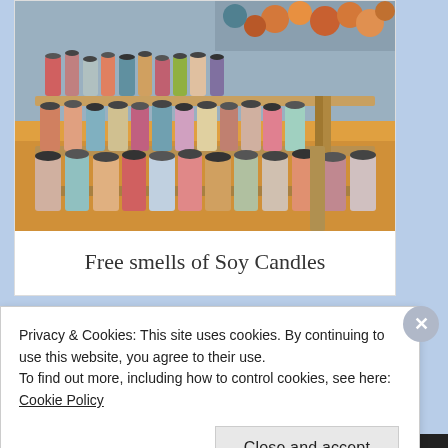[Figure (photo): A market stall display of many colorful soy candles in glass jars arranged on wooden tiered shelves covered with an orange/yellow tablecloth. Balls of yarn are visible in the background.]
Free smells of Soy Candles
Privacy & Cookies: This site uses cookies. By continuing to use this website, you agree to their use.
To find out more, including how to control cookies, see here: Cookie Policy